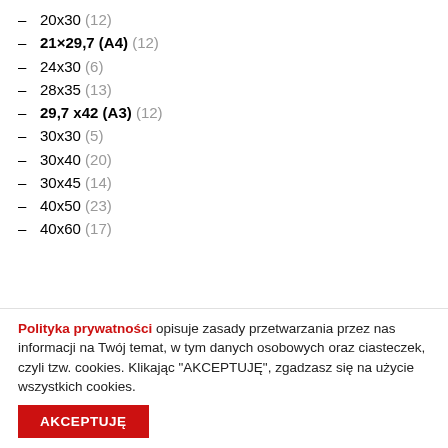– 20x30 (12)
– 21×29,7 (A4) (12)
– 24x30 (6)
– 28x35 (13)
– 29,7 x42 (A3) (12)
– 30x30 (5)
– 30x40 (20)
– 30x45 (14)
– 40x50 (23)
– 40x60 (17)
Polityka prywatności opisuje zasady przetwarzania przez nas informacji na Twój temat, w tym danych osobowych oraz ciasteczek, czyli tzw. cookies. Klikając "AKCEPTUJĘ", zgadzasz się na użycie wszystkich cookies.
AKCEPTUJĘ